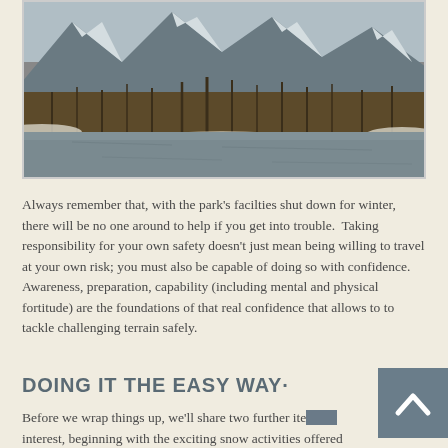[Figure (photo): Winter mountain landscape with snow-capped peaks, bare trees, and a river or lake in the foreground.]
Always remember that, with the park's facilties shut down for winter, there will be no one around to help if you get into trouble.  Taking responsibility for your own safety doesn't just mean being willing to travel at your own risk; you must also be capable of doing so with confidence.  Awareness, preparation, capability (including mental and physical fortitude) are the foundations of that real confidence that allows to to tackle challenging terrain safely.
DOING IT THE EASY WAY·
Before we wrap things up, we'll share two further items of interest, beginning with the exciting snow activities offered